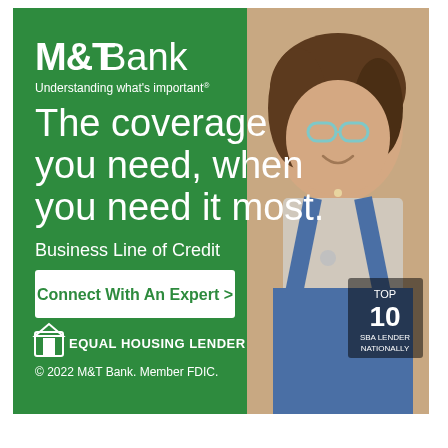[Figure (illustration): M&T Bank advertisement banner showing a smiling woman wearing a blue denim apron and glasses, standing against a green background. Left panel is green with M&T Bank logo, tagline 'Understanding what's important®', headline 'The coverage you need, when you need it most.', 'Business Line of Credit', a 'Connect With An Expert >' button, Equal Housing Lender logo, and copyright notice. Right panel shows a photo of the woman with a 'TOP 10 SBA LENDER NATIONALLY' badge.]